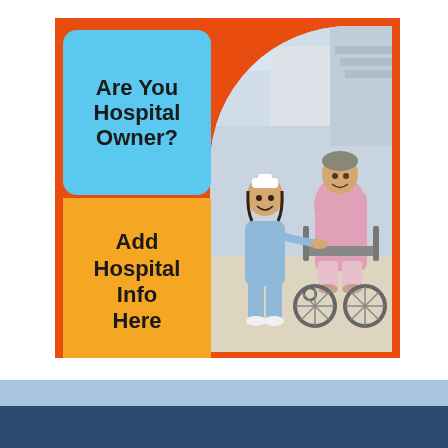[Figure (infographic): Hospital owner advertisement infographic with orange-red background, a blue rounded rectangle containing 'Are You Hospital Owner?', an orange banner/ribbon containing 'Add Hospital Info Here', and a photo of a nurse in blue scrubs kneeling beside an elderly female patient in a pink hospital gown seated in a wheelchair. The scene is set in a hospital corridor.]